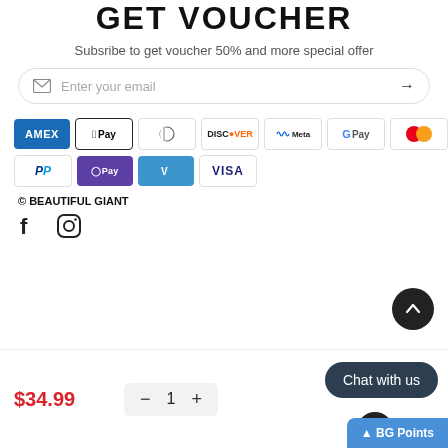GET VOUCHER
Subsribe to get voucher 50% and more special offer
[Figure (screenshot): Email input bar with envelope icon, placeholder text 'Enter your email', and a right arrow button, styled with rounded border]
[Figure (infographic): Two rows of payment method icons: AMEX, Apple Pay, Diners Club, Discover, Meta Pay, Google Pay, Mastercard (row 1); PayPal, O Pay, Venmo, VISA (row 2)]
© BEAUTIFUL GIANT
[Figure (infographic): Social media icons: Facebook (f) and Instagram (circle with camera icon)]
[Figure (infographic): Bottom bar showing price $34.99 in red, quantity control (minus, 1, plus), chat bubble 'Chat with us', BG Points button, and back-to-top arrow button]